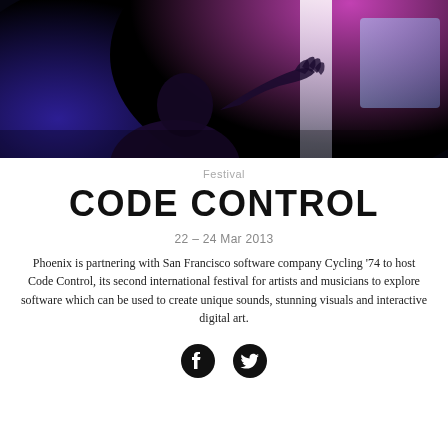[Figure (photo): Dark photo of a person silhouetted against neon pink and blue/purple light, hand raised toward a glowing screen or light panel]
Festival
CODE CONTROL
22 – 24 Mar 2013
Phoenix is partnering with San Francisco software company Cycling '74 to host Code Control, its second international festival for artists and musicians to explore software which can be used to create unique sounds, stunning visuals and interactive digital art.
[Figure (illustration): Facebook and Twitter social media icons as dark circles with white logos]